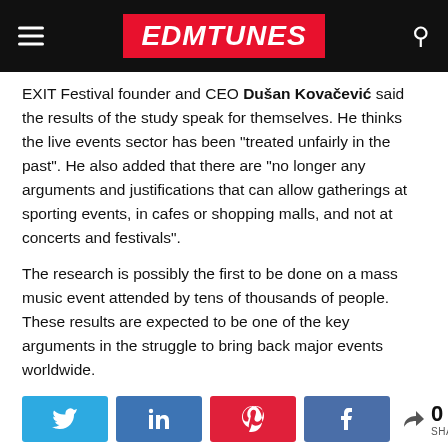EDMTunes
EXIT Festival founder and CEO Dušan Kovačević said the results of the study speak for themselves. He thinks the live events sector has been “treated unfairly in the past”. He also added that there are “no longer any arguments and justifications that can allow gatherings at sporting events, in cafes or shopping malls, and not at concerts and festivals”.
The research is possibly the first to be done on a mass music event attended by tens of thousands of people. These results are expected to be one of the key arguments in the struggle to bring back major events worldwide.
[Figure (infographic): Social share buttons: Twitter (blue), LinkedIn (blue-grey), Pinterest (red), Facebook (blue), with share count showing 0 SHARES]